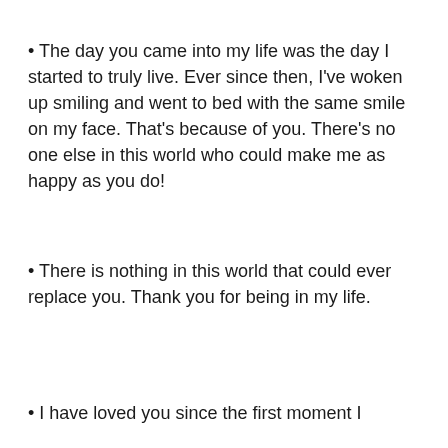The day you came into my life was the day I started to truly live. Ever since then, I've woken up smiling and went to bed with the same smile on my face. That's because of you. There's no one else in this world who could make me as happy as you do!
There is nothing in this world that could ever replace you. Thank you for being in my life.
I have loved you since the first moment I